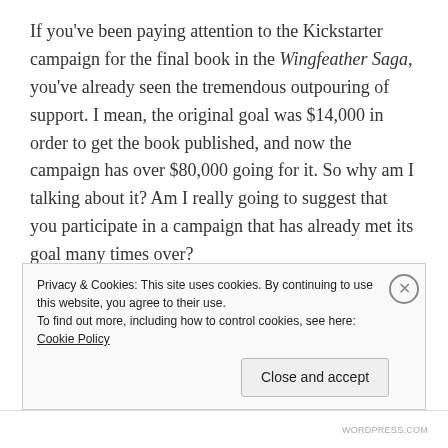If you've been paying attention to the Kickstarter campaign for the final book in the Wingfeather Saga, you've already seen the tremendous outpouring of support. I mean, the original goal was $14,000 in order to get the book published, and now the campaign has over $80,000 going for it. So why am I talking about it? Am I really going to suggest that you participate in a campaign that has already met its goal many times over?

Yes. I am going to talk about it. I am going to suggest that you participate. Because it's possible that you
Privacy & Cookies: This site uses cookies. By continuing to use this website, you agree to their use.
To find out more, including how to control cookies, see here: Cookie Policy
Close and accept